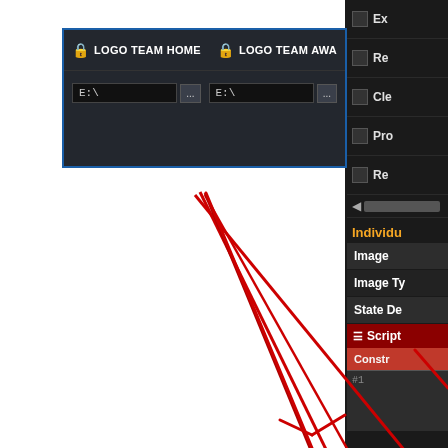[Figure (screenshot): Software UI screenshot showing a dark-themed application with a blue-bordered group box at top containing 'LOGO TEAM HOME' and 'LOGO TEAM AWAY' columns with file path inputs (E:\), a right panel with checkboxes labeled Ex, Re, Cle, Pro, Re with a scroll indicator, an 'Individual' section with Image, Image Ty, State De properties, and a red Script section with Constructor area. Red arrows annotate from the top file inputs area down toward the bottom right of the screen.]